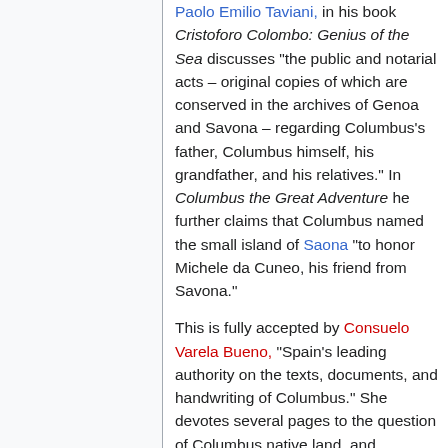Paolo Emilio Taviani, in his book Cristoforo Colombo: Genius of the Sea discusses "the public and notarial acts – original copies of which are conserved in the archives of Genoa and Savona – regarding Columbus's father, Columbus himself, his grandfather, and his relatives." In Columbus the Great Adventure he further claims that Columbus named the small island of Saona "to honor Michele da Cuneo, his friend from Savona."
This is fully accepted by Consuelo Varela Bueno, "Spain's leading authority on the texts, documents, and handwriting of Columbus." She devotes several pages to the question of Columbus native land, and concludes that "all chroniclers of that period wrote that he was from Liguria in northern Italy." The evidence supporting